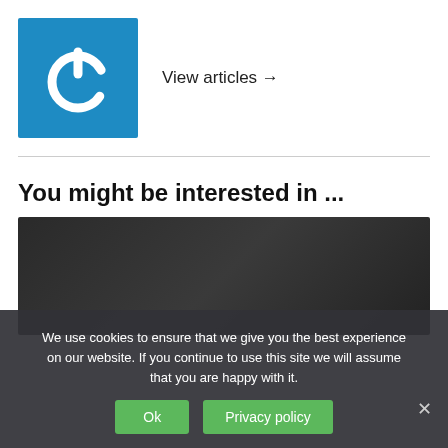[Figure (logo): Blue square logo with white power button icon]
View articles →
You might be interested in ...
[Figure (photo): Dark background image, partially obscured by cookie banner]
We use cookies to ensure that we give you the best experience on our website. If you continue to use this site we will assume that you are happy with it.
Ok
Privacy policy